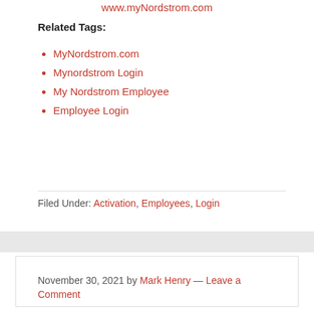www.myNordstrom.com
Related Tags:
MyNordstrom.com
Mynordstrom Login
My Nordstrom Employee
Employee Login
Filed Under: Activation, Employees, Login
November 30, 2021 by Mark Henry — Leave a Comment